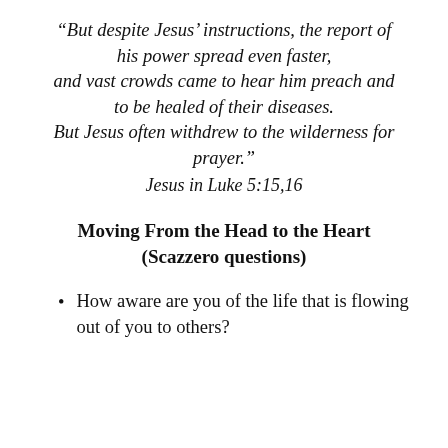“But despite Jesus’ instructions, the report of his power spread even faster, and vast crowds came to hear him preach and to be healed of their diseases. But Jesus often withdrew to the wilderness for prayer.”
Jesus in Luke 5:15,16
Moving From the Head to the Heart
(Scazzero questions)
How aware are you of the life that is flowing out of you to others?